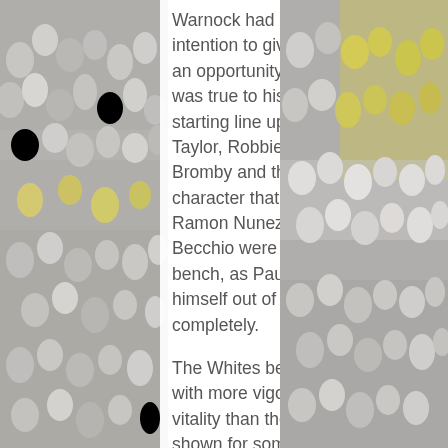[Figure (photo): Crowd of football supporters in white and yellow colours, left side background]
Warnock had made public his intention to give fringe players an opportunity to impress, and was true to his word. The starting line up featured Charlie Taylor, Robbie Rogers, Leigh Bromby and the cult (or comic) character that is Billy Paynter. Ramon Nunez and Luciano Becchio were dropped to the bench, as Paul Connolly found himself out of the squad completely.

The Whites began the match with more vigour, verve and vitality than the team has shown for some considerable time on home soil. Both Paynter and Captain Snodgrass were unfortunate not to score within the opening five minutes as
[Figure (photo): Crowd of football supporters in white and yellow colours, right side background]